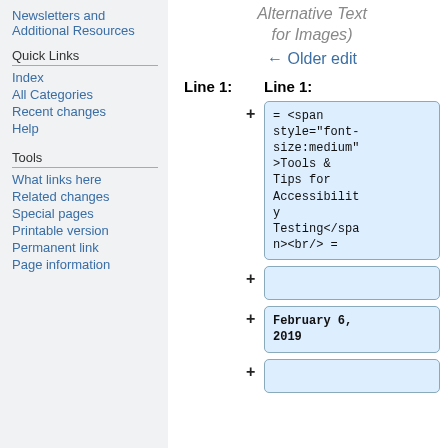Newsletters and Additional Resources
Quick Links
Index
All Categories
Recent changes
Help
Tools
What links here
Related changes
Special pages
Printable version
Permanent link
Page information
Alternative Text for Images)
← Older edit
Line 1:
Line 1:
= <span style="font-size:medium">Tools & Tips for Accessibility Testing</span><br/> =
February 6, 2019